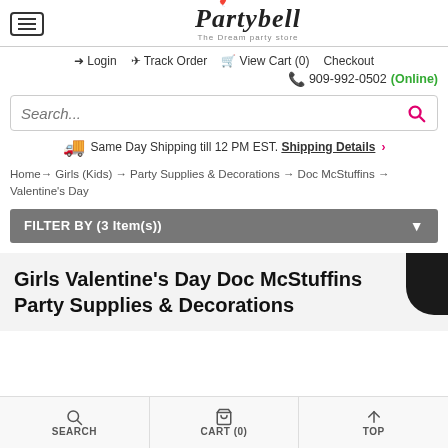Partybell - The Dream Party Store
Login | Track Order | View Cart (0) | Checkout
909-992-0502 (Online)
Search...
Same Day Shipping till 12 PM EST. Shipping Details ›
Home → Girls (Kids) → Party Supplies & Decorations → Doc McStuffins → Valentine's Day
FILTER BY (3 Item(s))
Girls Valentine's Day Doc McStuffins Party Supplies & Decorations
SEARCH | CART (0) | TOP